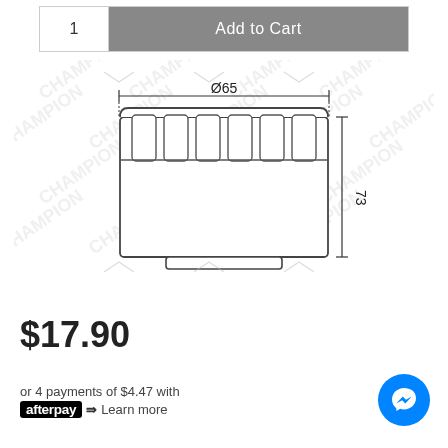[Figure (other): Add to Cart bar with quantity selector showing '1' and a grey 'Add to Cart' button]
[Figure (engineering-diagram): Technical line drawing of a cylindrical oil filter (Champion brand) showing top view with ribbed cap and dimensions: Ø65 (diameter) and 73 (height). CHAMPION watermark repeated in background.]
$17.90
or 4 payments of $4.47 with afterpay Learn more